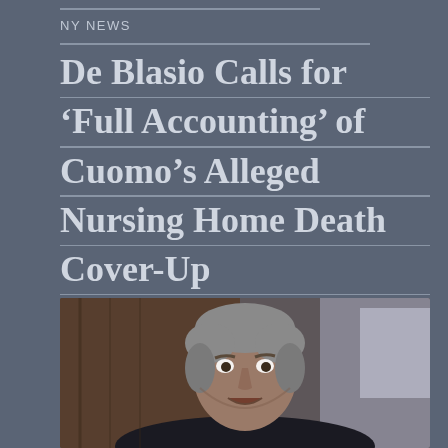NY NEWS
De Blasio Calls for ‘Full Accounting’ of Cuomo’s Alleged Nursing Home Death Cover-Up
[Figure (photo): Photo of Bill de Blasio, a man with graying hair, appearing to speak at a hearing or press conference]